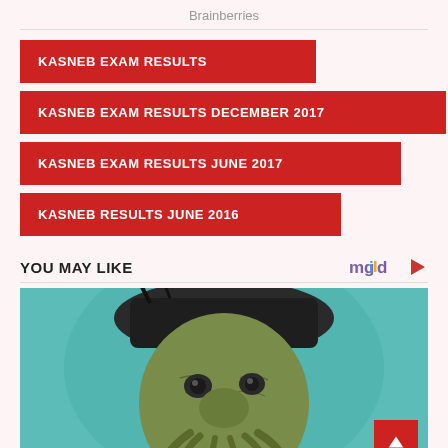Brainberries
KASNEB EXAM RESULTS
KASNEB EXAM RESULTS DECEMBER 2017
KASNEB EXAM RESULTS JUNE 2017
KASNEB RESULTS JUNE 2016
YOU MAY LIKE
[Figure (photo): Close-up of a fantasy creature character resembling Davy Jones from Pirates of the Caribbean with tentacles around the mouth, wearing a dark hat, against a teal/cyan background]